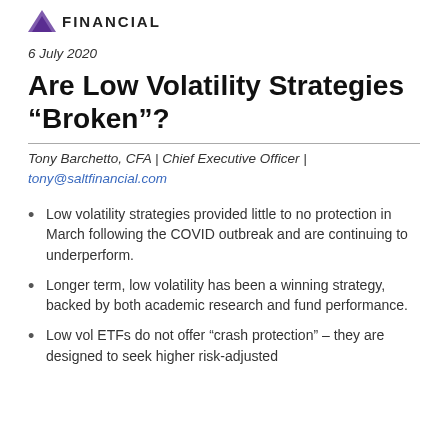FINANCIAL
6 July 2020
Are Low Volatility Strategies “Broken”?
Tony Barchetto, CFA | Chief Executive Officer | tony@saltfinancial.com
Low volatility strategies provided little to no protection in March following the COVID outbreak and are continuing to underperform.
Longer term, low volatility has been a winning strategy, backed by both academic research and fund performance.
Low vol ETFs do not offer “crash protection” – they are designed to seek higher risk-adjusted